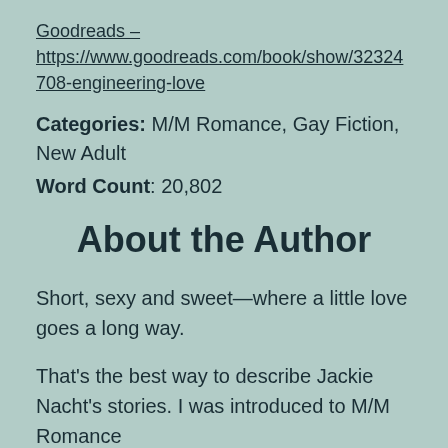Goodreads – https://www.goodreads.com/book/show/32324708-engineering-love
Categories: M/M Romance, Gay Fiction, New Adult
Word Count: 20,802
About the Author
Short, sexy and sweet—where a little love goes a long way.
That's the best way to describe Jackie Nacht's stories. I was introduced to M/M Romance